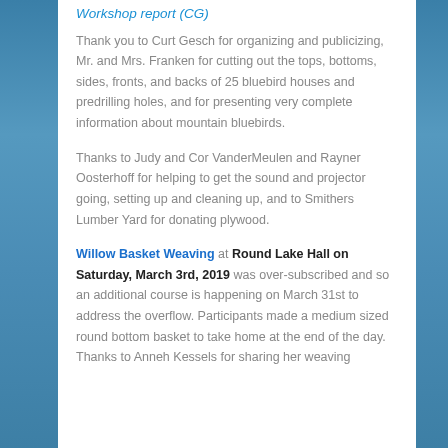Workshop report (CG)
Thank you to Curt Gesch for organizing and publicizing, Mr. and Mrs. Franken for cutting out the tops, bottoms, sides, fronts, and backs of 25 bluebird houses and predrilling holes, and for presenting very complete information about mountain bluebirds.
Thanks to Judy and Cor VanderMeulen and Rayner Oosterhoff for helping to get the sound and projector going, setting up and cleaning up, and to Smithers Lumber Yard for donating plywood.
Willow Basket Weaving at Round Lake Hall on Saturday, March 3rd, 2019 was over-subscribed and so an additional course is happening on March 31st to address the overflow. Participants made a medium sized round bottom basket to take home at the end of the day. Thanks to Anneh Kessels for sharing her weaving…